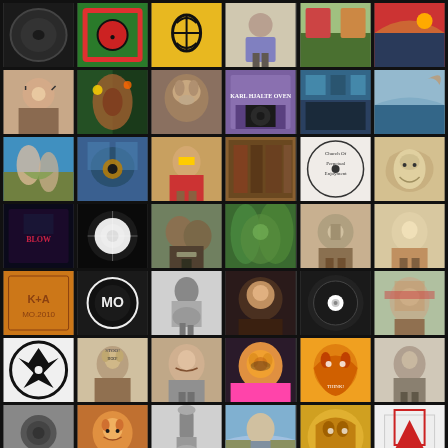[Figure (photo): Grid of 42 thumbnail images arranged in 7 rows and 6 columns on a dark background. Images include album covers, portraits, animals, landscapes, logos, and artistic illustrations.]